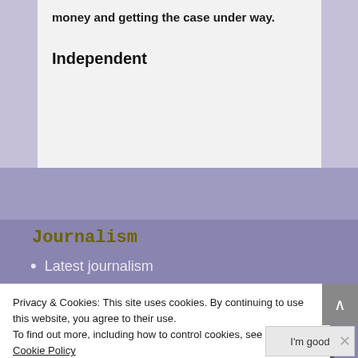money and getting the case under way.
Independent
Journalism
Latest journalism
Privacy & Cookies: This site uses cookies. By continuing to use this website, you agree to their use.
To find out more, including how to control cookies, see here: Cookie Policy
I'm good
Share This